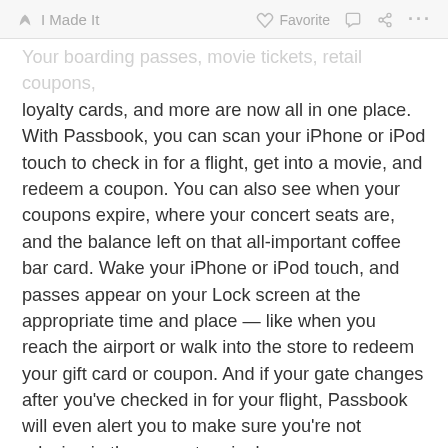I Made It   Favorite   ...
Your boarding passes, movie tickets, retail coupons, loyalty cards, and more are now all in one place. With Passbook, you can scan your iPhone or iPod touch to check in for a flight, get into a movie, and redeem a coupon. You can also see when your coupons expire, where your concert seats are, and the balance left on that all-important coffee bar card. Wake your iPhone or iPod touch, and passes appear on your Lock screen at the appropriate time and place — like when you reach the airport or walk into the store to redeem your gift card or coupon. And if your gate changes after you've checked in for your flight, Passbook will even alert you to make sure you're not relaxing in the wrong terminal.
FaceTime